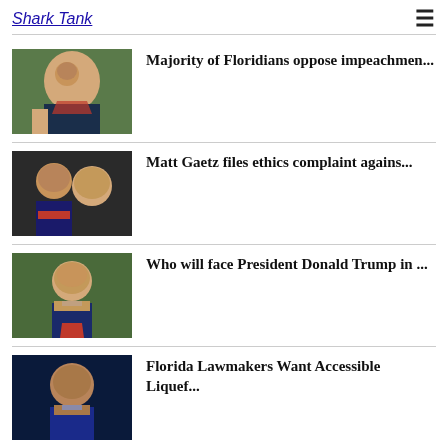Shark Tank
Majority of Floridians oppose impeachmen...
Matt Gaetz files ethics complaint agains...
Who will face President Donald Trump in ...
Florida Lawmakers Want Accessible Liquef...
President Trump pens $100K check to Home...